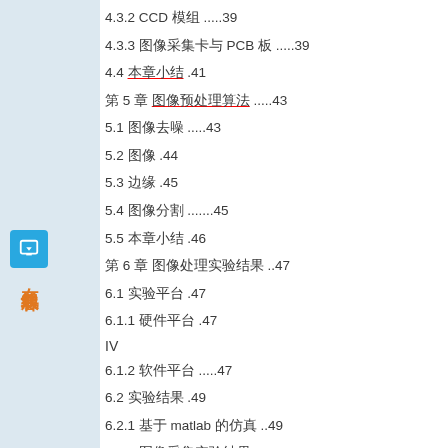4.3.2 CCD 模组 .....39
4.3.3 图像采集卡与 PCB 板 .....39
4.4 本章小结 .41
第 5 章 图像预处理算法 .....43
5.1 图像去噪 .....43
5.2 图像 .44
5.3 边缘 .45
5.4 图像分割 .......45
5.5 本章小结 .46
第 6 章 图像处理实验结果 ..47
6.1 实验平台 .47
6.1.1 硬件平台 .47
IV
6.1.2 软件平台 .....47
6.2 实验结果 .49
6.2.1 基于 matlab 的仿真 ..49
6.2.2 图像采集实验结果 .......51
6.2.3 图像 .....54